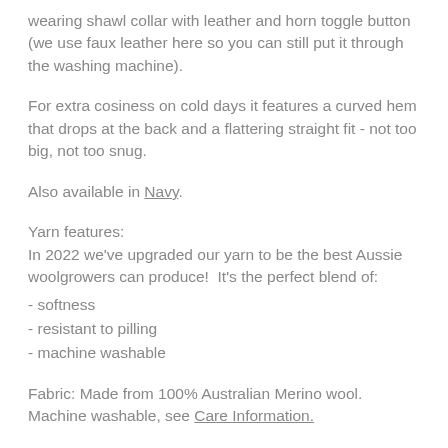wearing shawl collar with leather and horn toggle button (we use faux leather here so you can still put it through the washing machine).
For extra cosiness on cold days it features a curved hem that drops at the back and a flattering straight fit - not too big, not too snug.
Also available in Navy.
Yarn features:
In 2022 we've upgraded our yarn to be the best Aussie woolgrowers can produce!  It's the perfect blend of:
- softness
- resistant to pilling
- machine washable
Fabric: Made from 100% Australian Merino wool. Machine washable, see Care Information.
All Lady Kate knitwear comes with a complimentary